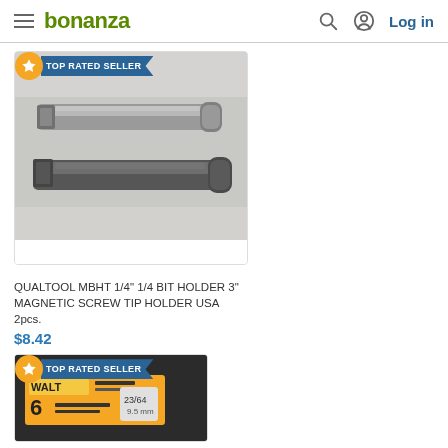bonanza — Log in
[Figure (screenshot): TOP RATED SELLER badge on product card]
[Figure (photo): Two metallic magnetic bit holders side by side on a white background]
QUALTOOL MBHT 1/4" 1/4 BIT HOLDER 3" MAGNETIC SCREW TIP HOLDER USA 2pcs.
$8.42
[Figure (photo): Partial view of a DEWALT 6-piece drill bit set product card with TOP RATED SELLER badge]